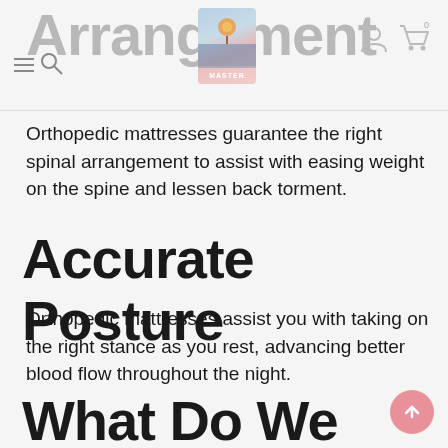Arrangement
Orthopedic mattresses guarantee the right spinal arrangement to assist with easing weight on the spine and lessen back torment.
Accurate Posture
Orthopedic mattresses assist you with taking on the right stance as you rest, advancing better blood flow throughout the night.
What Do We